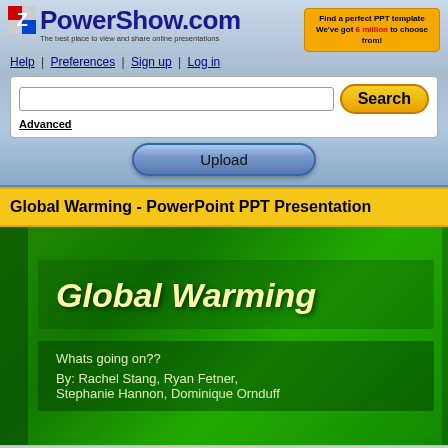PowerShow.com — The best place to view and share online presentations
Help | Preferences | Sign up | Log in
Find a perfect PPT template — We've got 6 million to choose from!
Advanced
Global Warming - PowerPoint PPT Presentation
[Figure (screenshot): PowerPoint slide with green background showing 'Global Warming' as the title in bold italic yellow text, subtitled 'Whats going on??' and 'By: Rachel Stang, Ryan Fetner, Stephanie Hannon, Dominique Ornduff' in light green text]